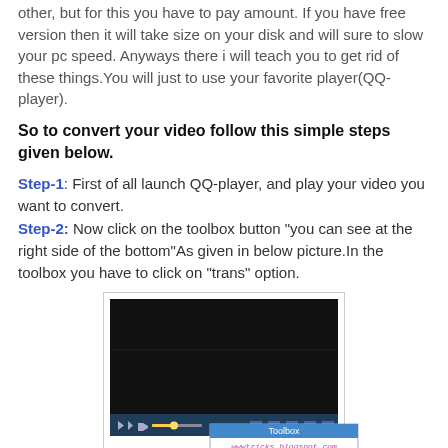other, but for this you have to pay amount. If you have free version then it will take size on your disk and will sure to slow your pc speed. Anyways there i will teach you to get rid of these things. You will just to use your favorite player(QQ-player).
So to convert your video follow this simple steps given below.
Step-1: First of all launch QQ-player, and play your video you want to convert.
Step-2: Now click on the toolbox button "you can see at the right side of the bottom"As given in below picture.In the toolbox you have to click on "trans" option.
[Figure (screenshot): QQ-player video player interface showing the player window with a black video area, playback controls at the bottom, and a Toolbox popup appearing at the bottom right with icons for Snap, Pics, GIF, Split, Trans, Press, Join, Cut. The URL wwwtricks.blogspot.com is watermarked on the image.]
Step-3: After clicking on trans you will see a new box on your screen(like this one).